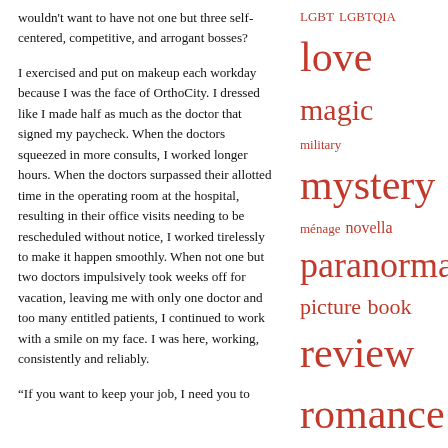wouldn't want to have not one but three self-centered, competitive, and arrogant bosses?
I exercised and put on makeup each workday because I was the face of OrthoCity. I dressed like I made half as much as the doctor that signed my paycheck. When the doctors squeezed in more consults, I worked longer hours. When the doctors surpassed their allotted time in the operating room at the hospital, resulting in their office visits needing to be rescheduled without notice, I worked tirelessly to make it happen smoothly. When not one but two doctors impulsively took weeks off for vacation, leaving me with only one doctor and too many entitled patients, I continued to work with a smile on my face. I was here, working, consistently and reliably.
“If you want to keep your job, I need you to
LGBT LGBTQIA love magic military mystery ménage novella paranormal picture book review romance scifi sexiness sexy short story showcase sports spotlight supernatural suspense sweet tattoos teen thriller western witches YA
Archives
▼ 2022 (114)